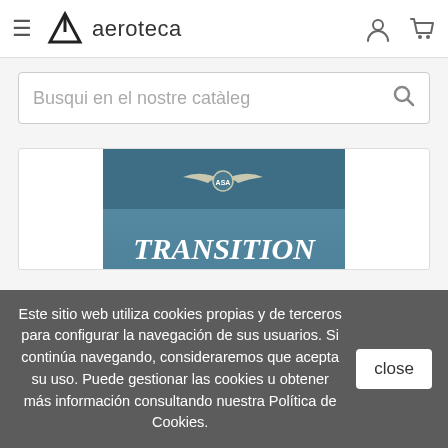aeroteca
Busqui en el nostre catàleg
[Figure (photo): Book cover: TRANSITION TO TWINS – Your First Multi-Engine Rating, with ASA logo and teal blue background featuring aircraft cockpit imagery]
Este sitio web utiliza cookies propias y de terceros para configurar la navegación de sus usuarios. Si continúa navegando, consideraremos que acepta su uso. Puede gestionar las cookies u obtener más información consultando nuestra Política de Cookies.